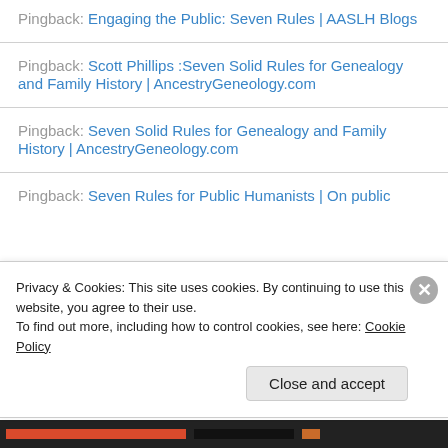Pingback: Engaging the Public: Seven Rules | AASLH Blogs
Pingback: Scott Phillips :Seven Solid Rules for Genealogy and Family History | AncestryGeneology.com
Pingback: Seven Solid Rules for Genealogy and Family History | AncestryGeneology.com
Pingback: Seven Rules for Public Humanists | On public
Privacy & Cookies: This site uses cookies. By continuing to use this website, you agree to their use.
To find out more, including how to control cookies, see here: Cookie Policy
Close and accept